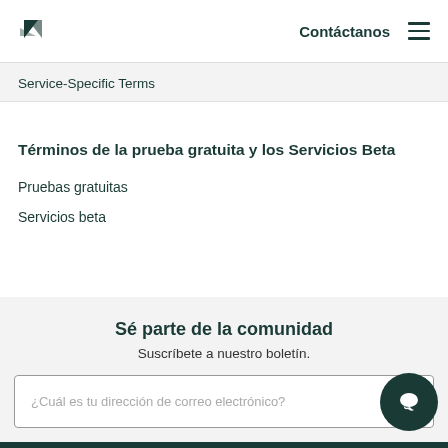Contáctanos
Service-Specific Terms
Términos de la prueba gratuita y los Servicios Beta
Pruebas gratuitas
Servicios beta
Sé parte de la comunidad
Suscríbete a nuestro boletín.
¿Cuál es tu dirección de correo electrónico?